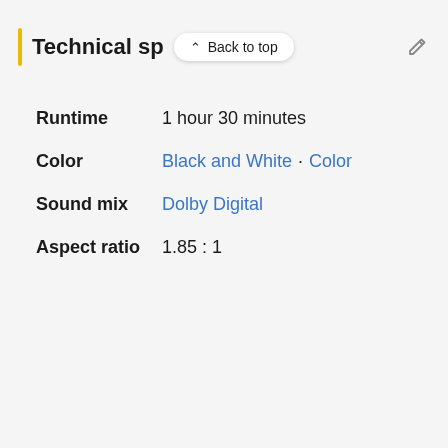Technical sp
Back to top
Runtime   1 hour 30 minutes
Color   Black and White · Color
Sound mix   Dolby Digital
Aspect ratio   1.85 : 1